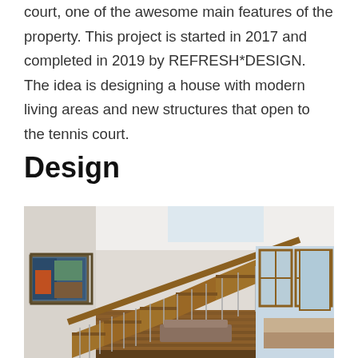court, one of the awesome main features of the property. This project is started in 2017 and completed in 2019 by REFRESH*DESIGN. The idea is designing a house with modern living areas and new structures that open to the tennis court.
Design
[Figure (photo): Interior photo of a modern house showing a wooden staircase with cable railings, high ceilings, a colorful framed painting on the left wall, wooden floors, and views to an outdoor tennis court through large windows on the right.]